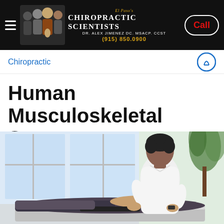[Figure (screenshot): Website header bar with hamburger menu, photo of chiropractic staff, El Paso's Chiropractic Scientists logo with Dr. Alex Jimenez DC. MSACP. CCST and phone number (915) 850.0900, and a Call button]
Chiropractic
Human Musculoskeletal System
[Figure (photo): Photo of a chiropractor in a white shirt performing spinal manipulation on a patient lying face-down on a treatment table, in a bright clinical room with large windows and a plant]